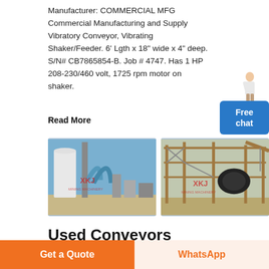Manufacturer: COMMERCIAL MFG Commercial Manufacturing and Supply Vibratory Conveyor, Vibrating Shaker/Feeder. 6' Lgth x 18" wide x 4" deep. S/N# CB7865854-B. Job # 4747. Has 1 HP 208-230/460 volt, 1725 rpm motor on shaker.
Read More
[Figure (photo): Industrial facility with large cylindrical silos and curved pipe structures against a blue sky, with XKJ watermark overlay]
[Figure (photo): Industrial processing plant with steel framework structures and heavy machinery, with XKJ watermark overlay]
Used Conveyors
Get a Quote
WhatsApp